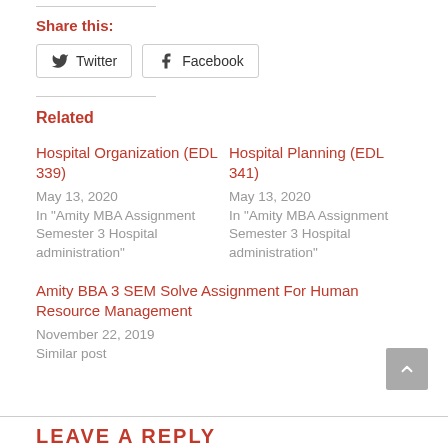Share this:
Twitter  Facebook
Related
Hospital Organization (EDL 339)
May 13, 2020
In "Amity MBA Assignment Semester 3 Hospital administration"
Hospital Planning (EDL 341)
May 13, 2020
In "Amity MBA Assignment Semester 3 Hospital administration"
Amity BBA 3 SEM Solve Assignment For Human Resource Management
November 22, 2019
Similar post
LEAVE A REPLY